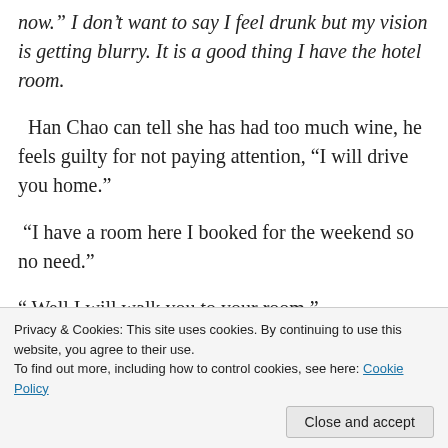now.” I don’t want to say I feel drunk but my vision is getting blurry. It is a good thing I have the hotel room.
Han Chao can tell she has had too much wine, he feels guilty for not paying attention, “I will drive you home.”
“I have a room here I booked for the weekend so no need.”
“ Well I will walk you to your room.”
Privacy & Cookies: This site uses cookies. By continuing to use this website, you agree to their use.
To find out more, including how to control cookies, see here: Cookie Policy
misinterprets this scene. He grabs Emmi out of Han